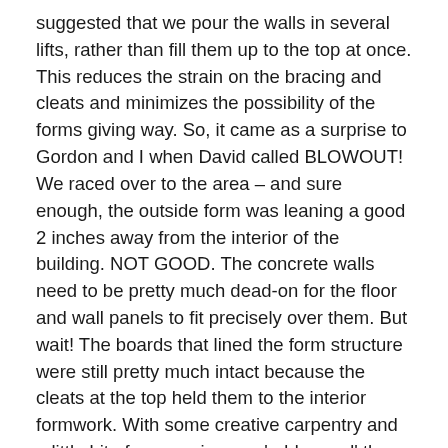suggested that we pour the walls in several lifts, rather than fill them up to the top at once. This reduces the strain on the bracing and cleats and minimizes the possibility of the forms giving way. So, it came as a surprise to Gordon and I when David called BLOWOUT! We raced over to the area – and sure enough, the outside form was leaning a good 2 inches away from the interior of the building. NOT GOOD. The concrete walls need to be pretty much dead-on for the floor and wall panels to fit precisely over them. But wait! The boards that lined the form structure were still pretty much intact because the cleats at the top held them to the interior formwork. With some creative carpentry and a little bit of persuasion, we 'addressed' the problem, and stabilized the form from moving any further out of line. And while Gordon and Austin were dealing with this issue, the pour continued – without a hitch. Oh , except when the center pier was being filled. It took over a yard of concrete, and it was a great place to empty out the hose....but the pressure to push that last bit of concrete out of the hose is about 4000 psi (pounds per